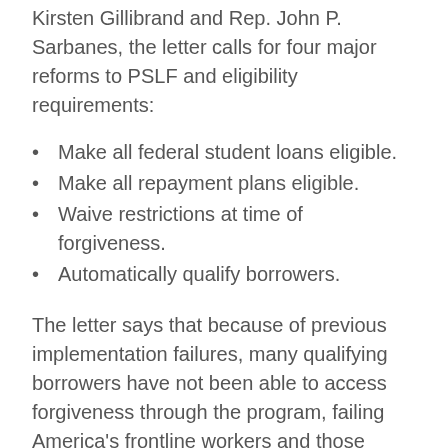Kirsten Gillibrand and Rep. John P. Sarbanes, the letter calls for four major reforms to PSLF and eligibility requirements:
Make all federal student loans eligible.
Make all repayment plans eligible.
Waive restrictions at time of forgiveness.
Automatically qualify borrowers.
The letter says that because of previous implementation failures, many qualifying borrowers have not been able to access forgiveness through the program, failing America's frontline workers and those working in the public service sector during the COVID-19 crisis.